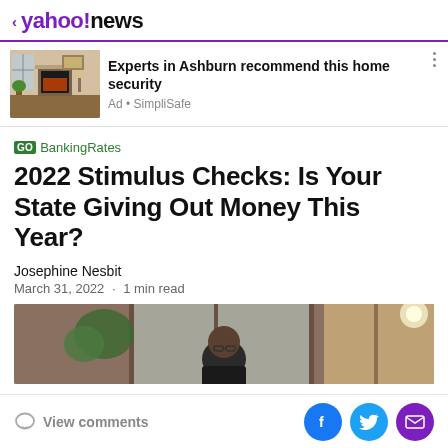< yahoo!news
[Figure (photo): Advertisement image showing a living room with fireplace and home interior]
Experts in Ashburn recommend this home security
Ad • SimpliSafe
[Figure (logo): GOBankingRates logo with green GO box and green BankingRates text]
2022 Stimulus Checks: Is Your State Giving Out Money This Year?
Josephine Nesbit
March 31, 2022  ·  1 min read
[Figure (photo): Person wearing glasses visible through glass office door or window partition]
View comments